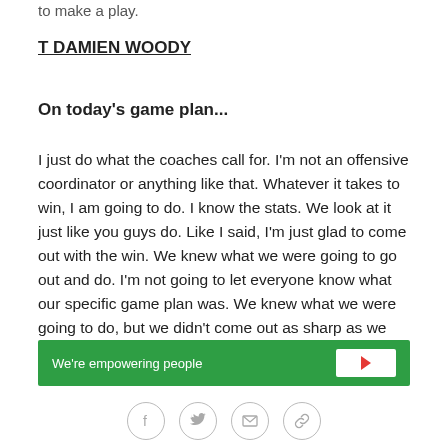to make a play.
T DAMIEN WOODY
On today's game plan...
I just do what the coaches call for. I'm not an offensive coordinator or anything like that. Whatever it takes to win, I am going to do. I know the stats. We look at it just like you guys do. Like I said, I'm just glad to come out with the win. We knew what we were going to go out and do. I'm not going to let everyone know what our specific game plan was. We knew what we were going to do, but we didn't come out as sharp as we wanted to. We made enough plays in the end to win the ballgame and that's all that matters.
[Figure (infographic): Green banner with text 'We're empowering people' and a white button with a red arrow.]
[Figure (infographic): Social media sharing icons: Facebook, Twitter, Email, Link/chain]